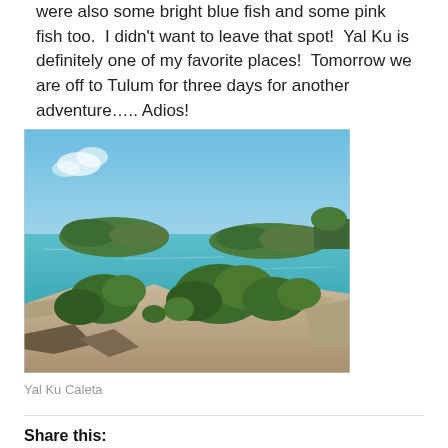were also some bright blue fish and some pink fish too.  I didn't want to leave that spot!  Yal Ku is definitely one of my favorite places!  Tomorrow we are off to Tulum for three days for another adventure….. Adios!
[Figure (photo): Outdoor photo of Yal Ku Caleta lagoon with turquoise water, rocky limestone shore with tropical vegetation in the foreground, and low green mangrove islands in the background under a clear blue sky.]
Yal Ku Caleta
Share this: